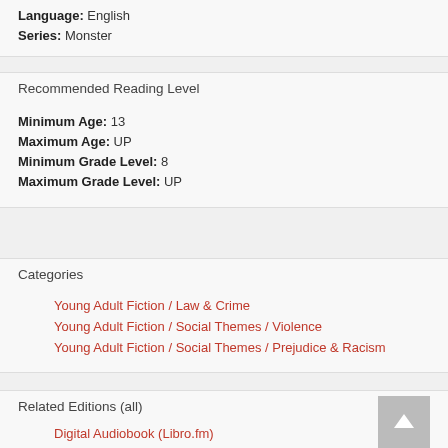Language: English
Series: Monster
Recommended Reading Level
Minimum Age: 13
Maximum Age: UP
Minimum Grade Level: 8
Maximum Grade Level: UP
Categories
Young Adult Fiction / Law & Crime
Young Adult Fiction / Social Themes / Violence
Young Adult Fiction / Social Themes / Prejudice & Racism
Related Editions (all)
Digital Audiobook (Libro.fm)